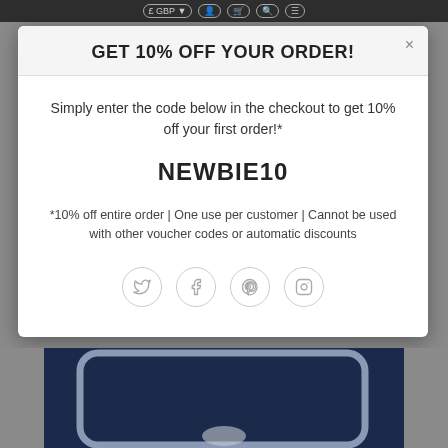£ GBP navigation bar
GET 10% OFF YOUR ORDER!
Simply enter the code below in the checkout to get 10% off your first order!*
NEWBIE10
*10% off entire order | One use per customer | Cannot be used with other voucher codes or automatic discounts
[Figure (illustration): Social media icon buttons for Twitter, Facebook, Pinterest, and Instagram in circular outlines]
[Figure (screenshot): Dark navy blue product image visible below the modal popup]